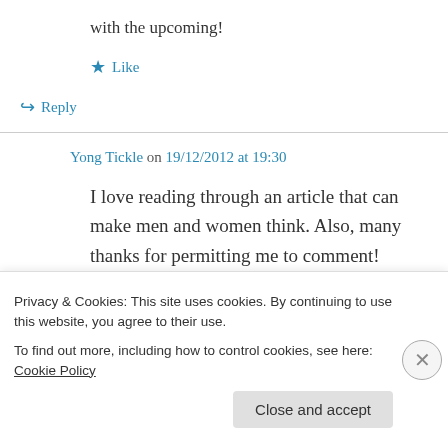with the upcoming!
★ Like
↪ Reply
Yong Tickle on 19/12/2012 at 19:30
I love reading through an article that can make men and women think. Also, many thanks for permitting me to comment!
★ Like
Privacy & Cookies: This site uses cookies. By continuing to use this website, you agree to their use. To find out more, including how to control cookies, see here: Cookie Policy
Close and accept